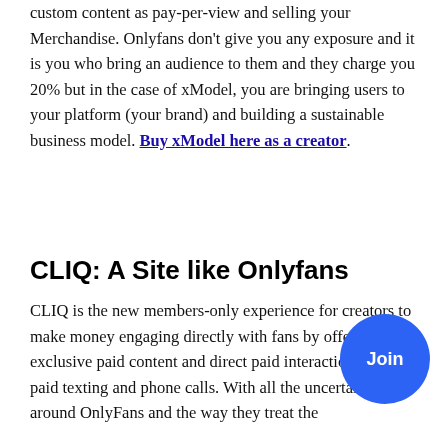custom content as pay-per-view and selling your Merchandise. Onlyfans don't give you any exposure and it is you who bring an audience to them and they charge you 20% but in the case of xModel, you are bringing users to your platform (your brand) and building a sustainable business model. Buy xModel here as a creator.
CLIQ: A Site like Onlyfans
CLIQ is the new members-only experience for creators to make money engaging directly with fans by offering them exclusive paid content and direct paid interactions like paid texting and phone calls. With all the uncertainty around OnlyFans and the way they treat the